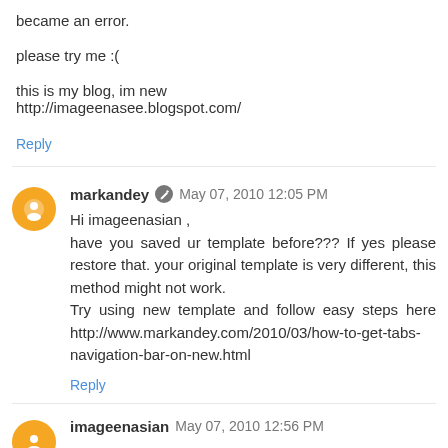became an error.
please try me :(
this is my blog, im new
http://imageenasee.blogspot.com/
Reply
markandey  May 07, 2010 12:05 PM
Hi imageenasian ,
have you saved ur template before??? If yes please restore that. your original template is very different, this method might not work.
Try using new template and follow easy steps here http://www.markandey.com/2010/03/how-to-get-tabs-navigation-bar-on-new.html
Reply
imageenasian  May 07, 2010 12:56 PM